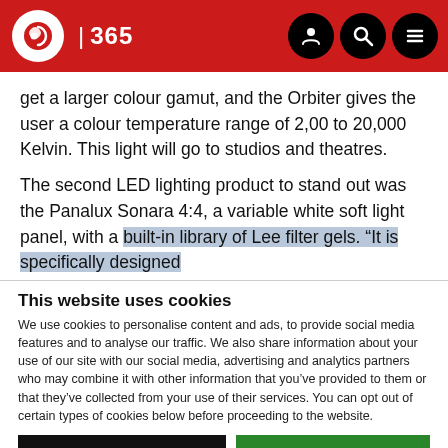IBC 365
get a larger colour gamut, and the Orbiter gives the user a colour temperature range of 2,00 to 20,000 Kelvin. This light will go to studios and theatres.
The second LED lighting product to stand out was the Panalux Sonara 4:4, a variable white soft light panel, with a built-in library of Lee filter gels. “It is specifically designed
This website uses cookies
We use cookies to personalise content and ads, to provide social media features and to analyse our traffic. We also share information about your use of our site with our social media, advertising and analytics partners who may combine it with other information that you’ve provided to them or that they’ve collected from your use of their services. You can opt out of certain types of cookies below before proceeding to the website.
Use necessary cookies only | Allow all cookies
Show details